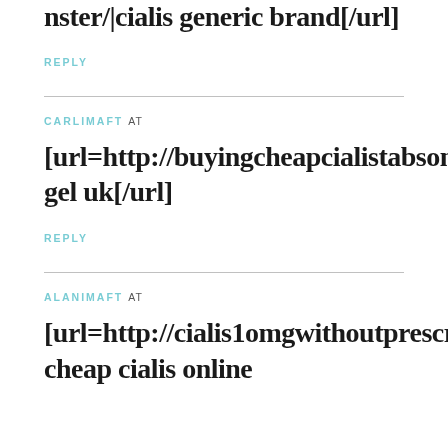nster/|cialis generic brand[/url]
REPLY
CARLIMAFT at
[url=http://buyingcheapcialistabsonline.quest/]cialis gel uk[/url]
REPLY
ALANIMAFT at
[url=http://cialis1omgwithoutprescription.monster/]buy cheap cialis online